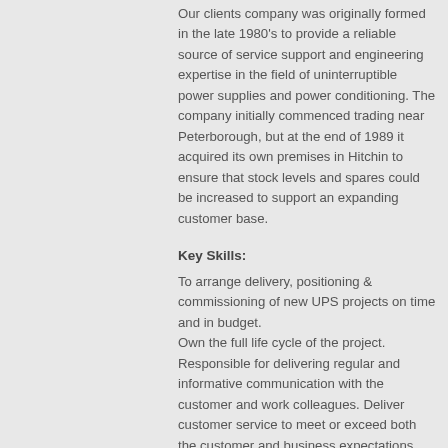Our clients company was originally formed in the late 1980's to provide a reliable source of service support and engineering expertise in the field of uninterruptible power supplies and power conditioning. The company initially commenced trading near Peterborough, but at the end of 1989 it acquired its own premises in Hitchin to ensure that stock levels and spares could be increased to support an expanding customer base.
Key Skills:
To arrange delivery, positioning & commissioning of new UPS projects on time and in budget. Own the full life cycle of the project. Responsible for delivering regular and informative communication with the customer and work colleagues. Deliver customer service to meet or exceed both the customer and business expectations. Inbound and outbound call handling both internal and external calls. Attend site visits. Attend meetings internal or external. Responsible for managing day to day workstreams. Responsible for maintaining regular updates of the project time table system.